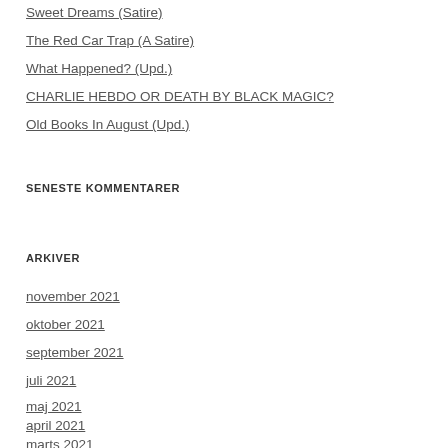Sweet Dreams (Satire)
The Red Car Trap (A Satire)
What Happened? (Upd.)
CHARLIE HEBDO OR DEATH BY BLACK MAGIC?
Old Books In August (Upd.)
SENESTE KOMMENTARER
ARKIVER
november 2021
oktober 2021
september 2021
juli 2021
maj 2021
april 2021
marts 2021